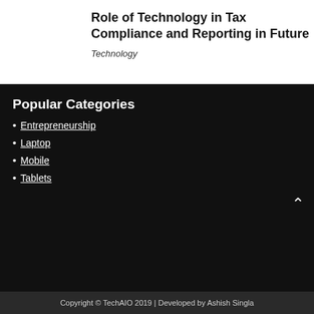Role of Technology in Tax Compliance and Reporting in Future
Technology
Popular Categories
Entrepreneurship
Laptop
Mobile
Tablets
Copyright © TechAIO 2019 | Developed by Ashish Singla